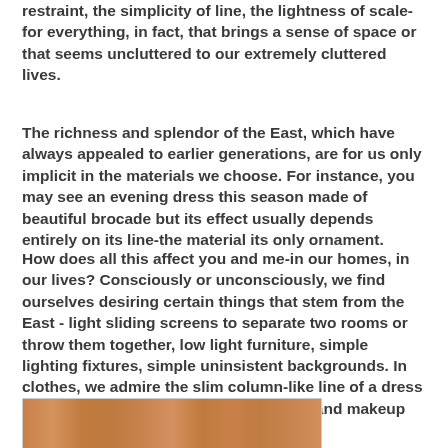restraint, the simplicity of line, the lightness of scale-for everything, in fact, that brings a sense of space or that seems uncluttered to our extremely cluttered lives.
The richness and splendor of the East, which have always appealed to earlier generations, are for us only implicit in the materials we choose. For instance, you may see an evening dress this season made of beautiful brocade but its effect usually depends entirely on its line-the material its only ornament.
How does all this affect you and me-in our homes, in our lives? Consciously or unconsciously, we find ourselves desiring certain things that stem from the East - light sliding screens to separate two rooms or throw them together, low light furniture, simple lighting fixtures, simple uninsistent backgrounds. In clothes, we admire the slim column-like line of a dress translated from the Chinese; in hairdos and makeup we try out an Oriental effect..."
[Figure (photo): A photograph showing a wooden surface with warm orange-brown tones, possibly a wood grain or paneling texture.]